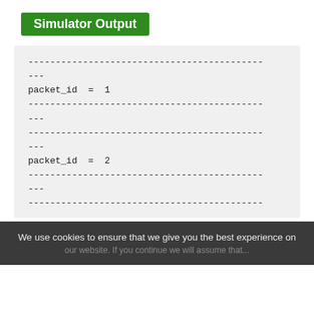Simulator Output
-------------------------------------------
---
packet_id  =  1
-------------------------------------------
---
-------------------------------------------
---
packet_id  =  2
-------------------------------------------
---
-------------------------------------------
We use cookies to ensure that we give you the best experience on our website. If you continue we will assume that...